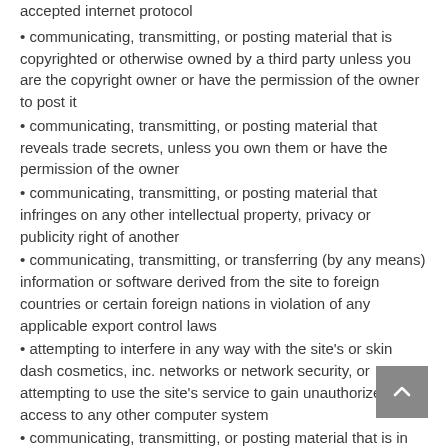accepted internet protocol
• communicating, transmitting, or posting material that is copyrighted or otherwise owned by a third party unless you are the copyright owner or have the permission of the owner to post it
• communicating, transmitting, or posting material that reveals trade secrets, unless you own them or have the permission of the owner
• communicating, transmitting, or posting material that infringes on any other intellectual property, privacy or publicity right of another
• communicating, transmitting, or transferring (by any means) information or software derived from the site to foreign countries or certain foreign nations in violation of any applicable export control laws
• attempting to interfere in any way with the site's or skin dash cosmetics, inc. networks or network security, or attempting to use the site's service to gain unauthorized access to any other computer system
• communicating, transmitting, or posting material that is in violation of applicable laws or regulations.